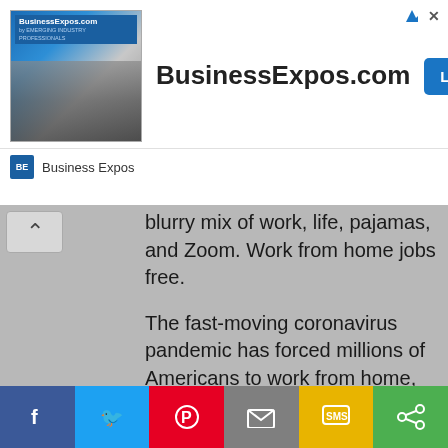[Figure (screenshot): BusinessExpos.com advertisement banner with logo image of trade show crowd, bold text 'BusinessExpos.com', and a 'Learn More' blue button. Sponsor label 'Business Expos' with BE icon at bottom.]
blurry mix of work, life, pajamas, and Zoom. Work from home jobs free.
The fast-moving coronavirus pandemic has forced millions of Americans to work from home, with no immediate end in sight. Dates for when employees will return to office buildings move later and later or remain uncertain for many companies.
Even as dozens of states have reopen months after the initial shutdowns, experts said that past stigma around working at home has largely been lifted and that they
[Figure (screenshot): Social sharing bar with six buttons: Facebook (blue), Twitter (light blue), Pinterest (red), Email (gray), SMS (yellow), Share (green)]